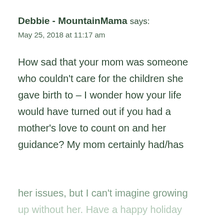Debbie - MountainMama says:
May 25, 2018 at 11:17 am
How sad that your mom was someone who couldn't care for the children she gave birth to – I wonder how your life would have turned out if you had a mother's love to count on and her guidance? My mom certainly had/has her issues, but I can't imagine growing up without her. Have a happy holiday